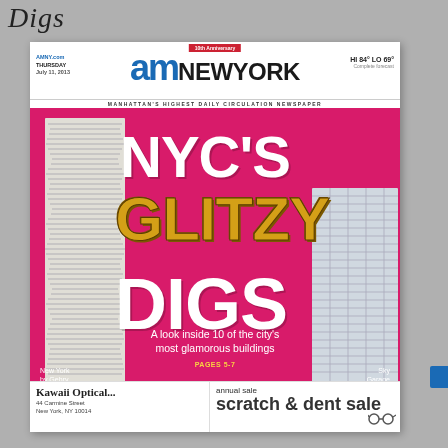Digs
[Figure (photo): Scanned page showing the front cover of amNewYork newspaper with headline 'NYC'S GLITZY DIGS — A look inside 10 of the city's most glamorous buildings', featuring images of NYC skyscrapers (New York by Gehry and Sky Garage) on a pink/magenta background. Below the cover is a partial advertisement for Kawaii Optical and a scratch & dent sale.]